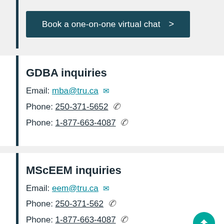Book a one-on-one virtual chat >
GDBA inquiries
Email: mba@tru.ca
Phone: 250-371-5652
Phone: 1-877-663-4087
MScEEM inquiries
Email: eem@tru.ca
Phone: 250-371-562
Phone: 1-877-663-4087